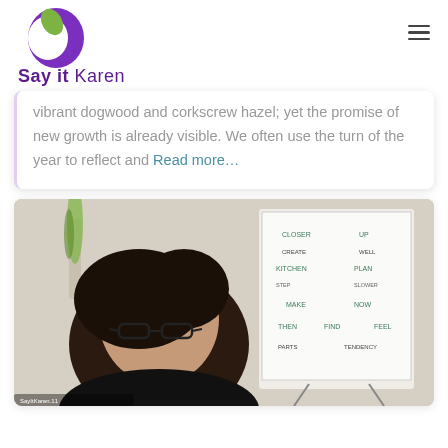[Figure (logo): Say it Karen logo with purple and green leaf icon and brand name text]
vibrant dogwood and corkscrew hazel; yet the promise of new growth is already visible. We often use the turn of the year to reflect and Read more…
[Figure (photo): A woman with dark hair and glasses looking down, seated in front of a whiteboard/flipchart with handwritten notes, in a home or office setting]